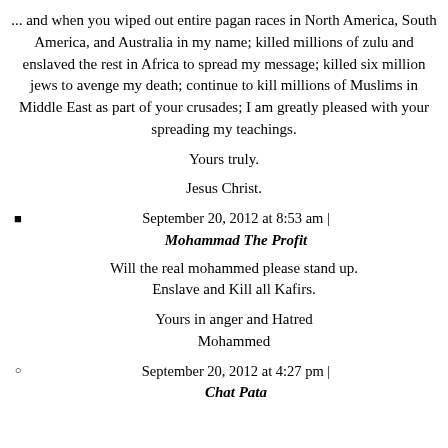... and when you wiped out entire pagan races in North America, South America, and Australia in my name; killed millions of zulu and enslaved the rest in Africa to spread my message; killed six million jews to avenge my death; continue to kill millions of Muslims in Middle East as part of your crusades; I am greatly pleased with your spreading my teachings.
Yours truly.
Jesus Christ.
September 20, 2012 at 8:53 am | Mohammad The Profit
Will the real mohammed please stand up. Enslave and Kill all Kafirs.
Yours in anger and Hatred
Mohammed
September 20, 2012 at 4:27 pm | Chat Pata